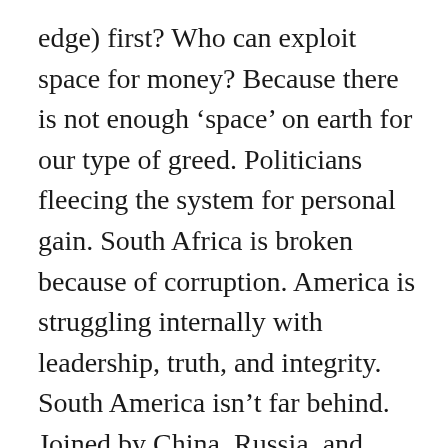edge) first? Who can exploit space for money? Because there is not enough ‘space’ on earth for our type of greed. Politicians fleecing the system for personal gain. South Africa is broken because of corruption. America is struggling internally with leadership, truth, and integrity. South America isn’t far behind. Joined by China, Russia, and probably every other country in the world. Should we include Canada and the United Kingdom? Depends who we talk to.